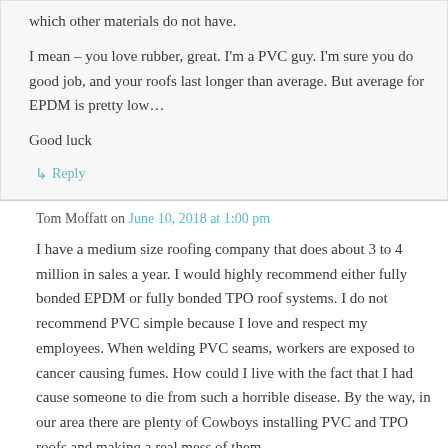which other materials do not have.
I mean – you love rubber, great. I'm a PVC guy. I'm sure you do good job, and your roofs last longer than average. But average for EPDM is pretty low…
Good luck
↳ Reply
Tom Moffatt on June 10, 2018 at 1:00 pm
I have a medium size roofing company that does about 3 to 4 million in sales a year. I would highly recommend either fully bonded EPDM or fully bonded TPO roof systems. I do not recommend PVC simple because I love and respect my employees. When welding PVC seams, workers are exposed to cancer causing fumes. How could I live with the fact that I had cause someone to die from such a horrible disease. By the way, in our area there are plenty of Cowboys installing PVC and TPO roofs and making a real mess of them. As for EPDM creeping and pulling on parapets, this will never happen on a properly installed fully bonded roof.